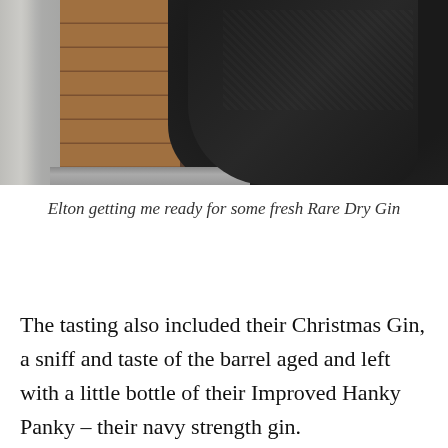[Figure (photo): A person in a dark jacket bending forward, with wooden slats and a metal railing visible in the background, and a glass or window element on the left.]
Elton getting me ready for some fresh Rare Dry Gin
The tasting also included their Christmas Gin, a sniff and taste of the barrel aged and left with a little bottle of their Improved Hanky Panky – their navy strength gin.